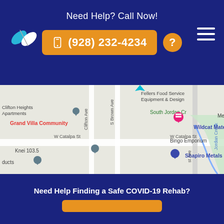Need Help? Call Now!
(928) 232-4234
[Figure (map): Google Maps view showing Clifton Heights Apartments, Grand Villa Community, Wildcat Materials, Bingo Emporium, Shapiro Metals, Knei 103.5, Fellers Food Service Equipment & Design, South Jordan Cr, W Catalpa St, Clifton Ave, S Brown Ave, Jordan Creek]
Need Help Finding a Safe COVID-19 Rehab?